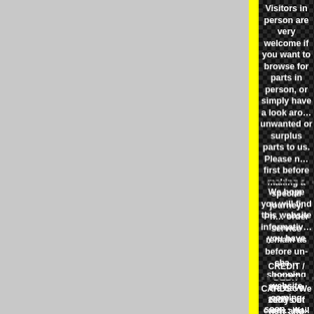Visitors in person are very welcome if you want to browse for parts in person, or simply have a look around, or wish to sell unwanted or surplus parts to us. Please note: phone or email first before making a special journey. Phone & mail order service remain as before un-changed, online shopping website coming soon - watch this space !
We hope you will find this website informative and useful. If you have any comments about the site please let us know. We prefer you to contact us by phone as it's not always possible to answer high volumes of emails immediately, however email is a useful option especially if you need to send us photos - click on the blue link above.
CREDIT / DEBIT CARDS : We carry out card transactions as mail order transactions. We will ONLY deal with the card holder, please make sure you have your card WITH you when calling. Any fraudulent transactions WILL be reported to the police. For security reasons all overseas orders and high value orders can ONLY be sent to the card holders address as shown on their bank statement, which is checked by us at the time of dispatch. We make a 1.5% handling charge on CREDIT CARDS and a 3.5% handling charge for American Express and Diners. NO HANDLING CHARGE for DEBIT Cards. We accept PAYPAL.
We have 1000's of new and used parts in stock. We don't list everything, so PLEASE CALL if you don't see what you need.